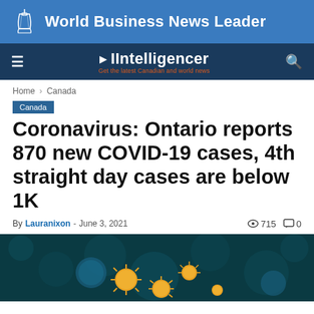World Business News Leader
IIntelligencer – Get the latest Canadian and world news
Home › Canada
Canada
Coronavirus: Ontario reports 870 new COVID-19 cases, 4th straight day cases are below 1K
By Lauranixon - June 3, 2021   715   0
[Figure (photo): Close-up microscope image of coronavirus particles – orange/yellow spherical virus particles on a dark teal/blue background]